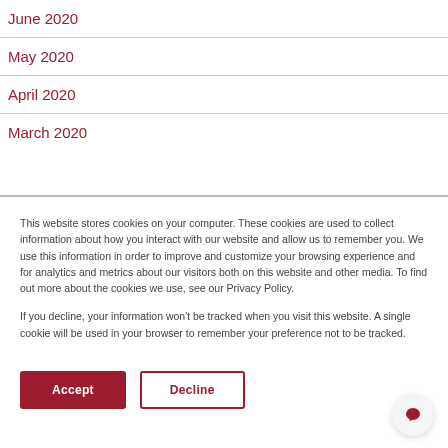June 2020
May 2020
April 2020
March 2020
This website stores cookies on your computer. These cookies are used to collect information about how you interact with our website and allow us to remember you. We use this information in order to improve and customize your browsing experience and for analytics and metrics about our visitors both on this website and other media. To find out more about the cookies we use, see our Privacy Policy.

If you decline, your information won't be tracked when you visit this website. A single cookie will be used in your browser to remember your preference not to be tracked.
Accept
Decline